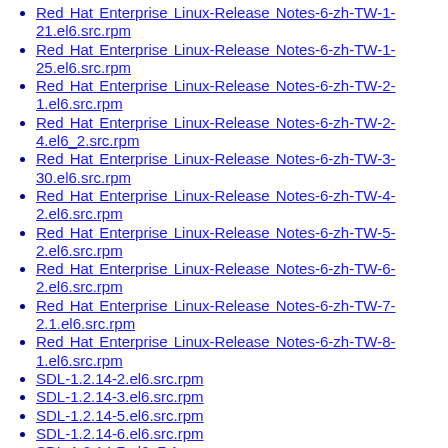Red Hat Enterprise Linux-Release Notes-6-zh-TW-1-21.el6.src.rpm
Red Hat Enterprise Linux-Release Notes-6-zh-TW-1-25.el6.src.rpm
Red Hat Enterprise Linux-Release Notes-6-zh-TW-2-1.el6.src.rpm
Red Hat Enterprise Linux-Release Notes-6-zh-TW-2-4.el6_2.src.rpm
Red Hat Enterprise Linux-Release Notes-6-zh-TW-3-30.el6.src.rpm
Red Hat Enterprise Linux-Release Notes-6-zh-TW-4-2.el6.src.rpm
Red Hat Enterprise Linux-Release Notes-6-zh-TW-5-2.el6.src.rpm
Red Hat Enterprise Linux-Release Notes-6-zh-TW-6-2.el6.src.rpm
Red Hat Enterprise Linux-Release Notes-6-zh-TW-7-2.1.el6.src.rpm
Red Hat Enterprise Linux-Release Notes-6-zh-TW-8-1.el6.src.rpm
SDL-1.2.14-2.el6.src.rpm
SDL-1.2.14-3.el6.src.rpm
SDL-1.2.14-5.el6.src.rpm
SDL-1.2.14-6.el6.src.rpm
SDL-1.2.14-7.el6_7.1.src.rpm